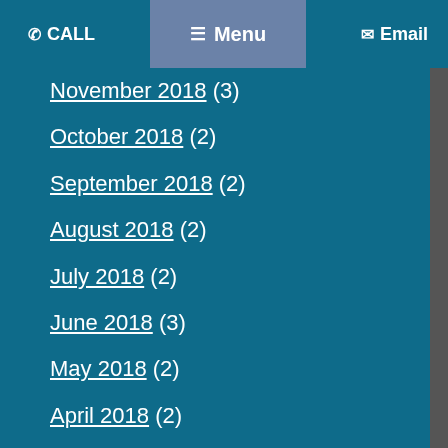CALL  Menu  Email
November 2018 (3)
October 2018 (2)
September 2018 (2)
August 2018 (2)
July 2018 (2)
June 2018 (3)
May 2018 (2)
April 2018 (2)
March 2018 (2)
February 2018 (2)
January 2018 (2)
December 2017 (3)